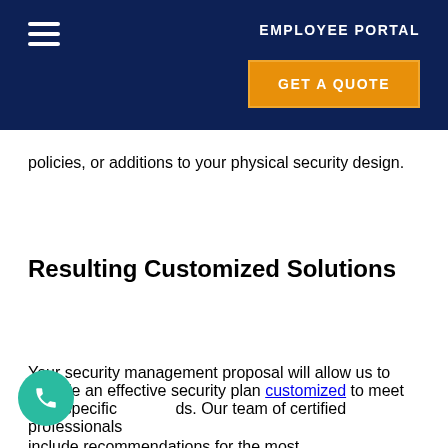EMPLOYEE PORTAL
policies, or additions to your physical security design.
Resulting Customized Solutions
Your security management proposal will allow us to provide an effective security plan customized to meet your specific needs. Our team of certified professionals include recommendations for the most cost effective solutions which can often